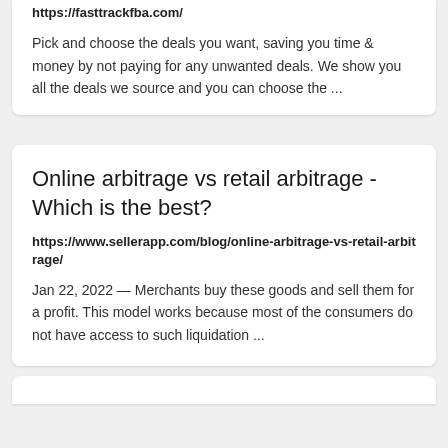https://fasttrackfba.com/
Pick and choose the deals you want, saving you time & money by not paying for any unwanted deals. We show you all the deals we source and you can choose the ...
Online arbitrage vs retail arbitrage - Which is the best?
https://www.sellerapp.com/blog/online-arbitrage-vs-retail-arbitrage/
Jan 22, 2022 — Merchants buy these goods and sell them for a profit. This model works because most of the consumers do not have access to such liquidation ...